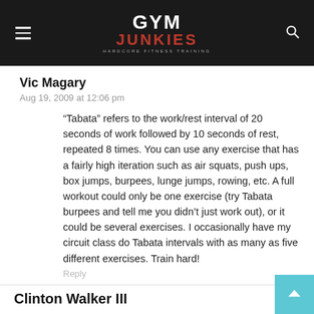GYM JUNKIES — HARDCORE FITNESS TRAINING
Vic Magary
Aug 19, 2009 at 12:06 pm
“Tabata” refers to the work/rest interval of 20 seconds of work followed by 10 seconds of rest, repeated 8 times. You can use any exercise that has a fairly high iteration such as air squats, push ups, box jumps, burpees, lunge jumps, rowing, etc. A full workout could only be one exercise (try Tabata burpees and tell me you didn’t just work out), or it could be several exercises. I occasionally have my circuit class do Tabata intervals with as many as five different exercises. Train hard!
Reply
Clinton Walker III